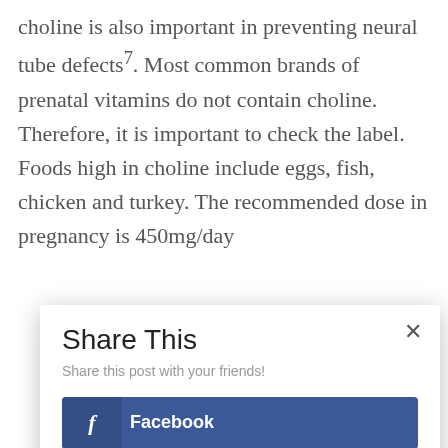choline is also important in preventing neural tube defects⁷. Most common brands of prenatal vitamins do not contain choline. Therefore, it is important to check the label. Foods high in choline include eggs, fish, chicken and turkey. The recommended dose in pregnancy is 450mg/day
[Figure (infographic): Share This modal dialog with Facebook and Twitter share buttons. Contains title 'Share This', subtitle 'Share this post with your friends!', a close (x) button, a Facebook button, and a Twitter button.]